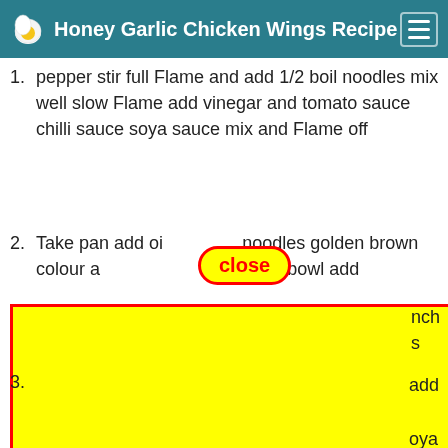Honey Garlic Chicken Wings Recipe
pepper stir full Flame and add 1/2 boil noodles mix well slow Flame add vinegar and tomato sauce chilli sauce soya sauce mix and Flame off
Take pan add oil [close button overlay] noodles golden brown colour a[...] de- take a bowl add [...] nch [...] s [...] add [...] oya [...] x [...] nter [...] es [...] es
[partially obscured by yellow block]
Ready to serve enjoy with your family take care